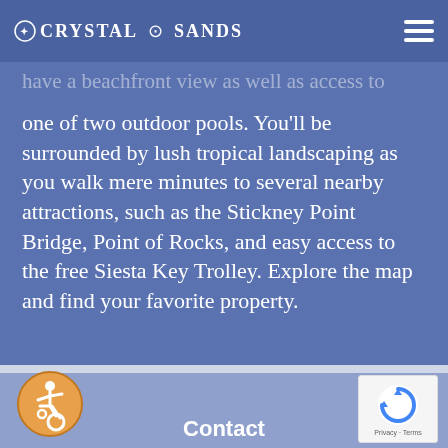Crystal Sands
have a beachfront view as well as access to one of two outdoor pools. You'll be surrounded by lush tropical landscaping as you walk mere minutes to several nearby attractions, such as the Stickney Point Bridge, Point of Rocks, and easy access to the free Siesta Key Trolley. Explore the map and find your favorite property.
SEE THE MAP
Contact
[Figure (logo): Accessibility wheelchair icon in orange circle]
[Figure (logo): Google reCAPTCHA badge with Privacy and Terms links]